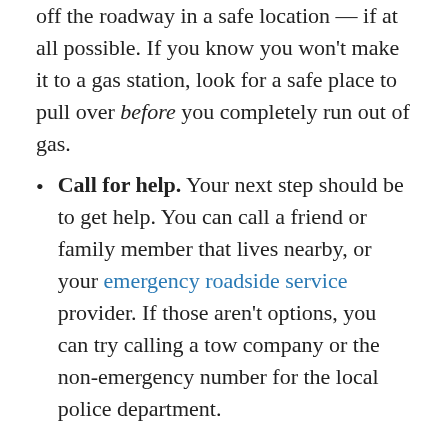off the roadway in a safe location — if at all possible. If you know you won't make it to a gas station, look for a safe place to pull over before you completely run out of gas.
Call for help. Your next step should be to get help. You can call a friend or family member that lives nearby, or your emergency roadside service provider. If those aren't options, you can try calling a tow company or the non-emergency number for the local police department.
How much gas does it take to start a car after it runs out?